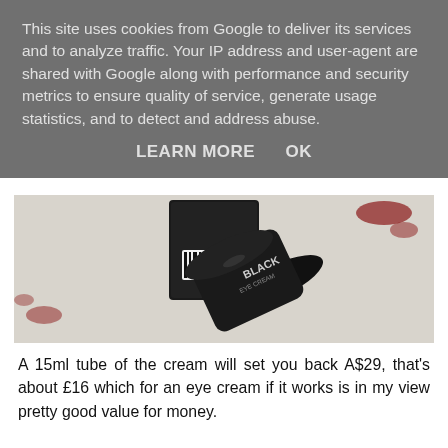This site uses cookies from Google to deliver its services and to analyze traffic. Your IP address and user-agent are shared with Google along with performance and security metrics to ensure quality of service, generate usage statistics, and to detect and address abuse.
LEARN MORE   OK
[Figure (photo): Product photo of a black cylindrical cream container labeled 'BLACK' lying on its side on a textured white/grey surface with red accents, alongside a black box packaging.]
A 15ml tube of the cream will set you back A$29, that's about £16 which for an eye cream if it works is in my view pretty good value for money.
This is what they say about the eye cream over at their website here:
'This anti-wrinkle cream developed using the most advanced anti-ageing technology is